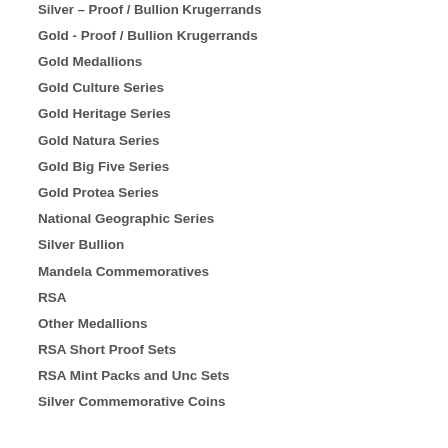Silver – Proof / Bullion Krugerrands
Gold - Proof / Bullion Krugerrands
Gold Medallions
Gold Culture Series
Gold Heritage Series
Gold Natura Series
Gold Big Five Series
Gold Protea Series
National Geographic Series
Silver Bullion
Mandela Commemoratives
RSA
Other Medallions
RSA Short Proof Sets
RSA Mint Packs and Unc Sets
Silver Commemorative Coins